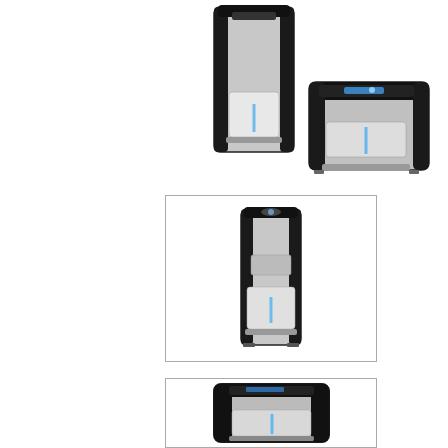[Figure (photo): Two water dispensers/coolers side by side: a tall floor-standing unit on the left in black and silver, and a shorter countertop unit on the right in black and silver with a blue LED water stream visible.]
[Figure (photo): A floor-standing water cooler/dispenser in black and silver, shown alone inside a rectangular bordered box.]
[Figure (photo): A countertop water dispenser in black and silver with a blue LED stream, shown inside a rectangular bordered box, partially cropped at the bottom.]